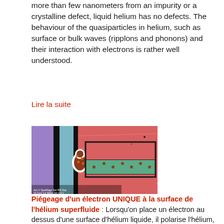more than few nanometers from an impurity or a crystalline defect, liquid helium has no defects. The behaviour of the quasiparticles in helium, such as surface or bulk waves (ripplons and phonons) and their interaction with electrons is rather well understood.
Lire la suite
[Figure (photo): Scanning electron microscope image of a microelectronic device, colorized: showing purple, teal/blue, pink/red regions with a teardrop-shaped cavity containing small orange dots, connected to a rectangular green channel with brown dots.]
Piégeage d'un électron UNIQUE à la surface de l'hélium superfluide : Lorsqu'on place un électron au dessus d'une surface d'hélium liquide, il polarise l'hélium, abaissant ainsi